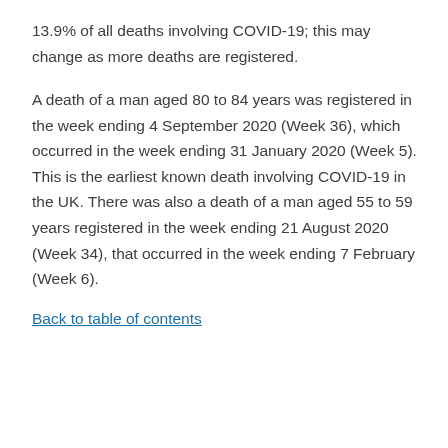13.9% of all deaths involving COVID-19; this may change as more deaths are registered.
A death of a man aged 80 to 84 years was registered in the week ending 4 September 2020 (Week 36), which occurred in the week ending 31 January 2020 (Week 5). This is the earliest known death involving COVID-19 in the UK. There was also a death of a man aged 55 to 59 years registered in the week ending 21 August 2020 (Week 34), that occurred in the week ending 7 February (Week 6).
Back to table of contents